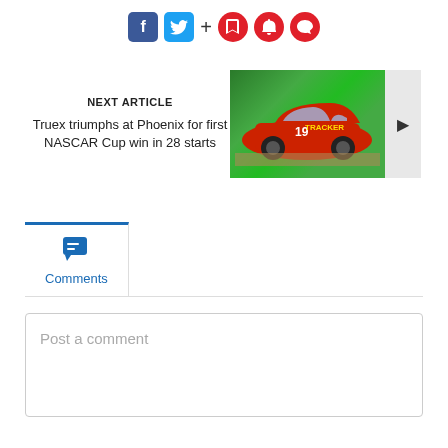[Figure (screenshot): Social media sharing bar with Facebook, Twitter, plus sign, and three red circular icons (bookmark, bell, comment)]
NEXT ARTICLE
Truex triumphs at Phoenix for first NASCAR Cup win in 28 starts
[Figure (photo): NASCAR race car number 19 with Tracker branding on a racetrack with green backdrop]
Comments
Post a comment